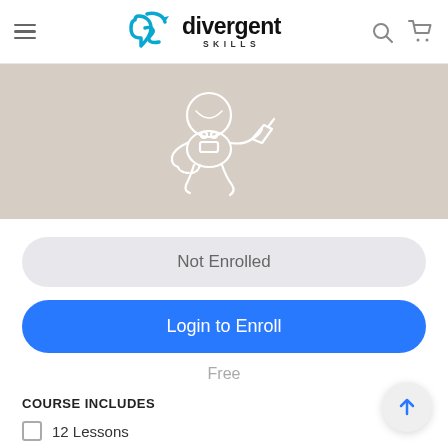[Figure (logo): Divergent Skills logo with blue stylized 'ds' icon and text 'divergent SKILLS']
[Figure (illustration): White outline illustration of an astronaut sitting on a tan/beige background]
Not Enrolled
Login to Enroll
Free
COURSE INCLUDES
12 Lessons